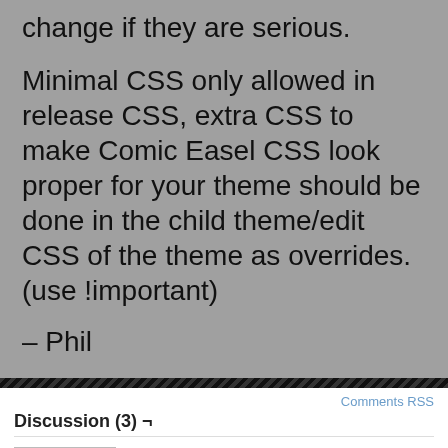change if they are serious.

Minimal CSS only allowed in release CSS, extra CSS to make Comic Easel CSS look proper for your theme should be done in the child theme/edit CSS of the theme as overrides.  (use !important)

– Phil
Discussion (3) ¬
Comments RSS
TheJoe
February 19, 2014, 10:13 am | # | Reply

Ah, finally found what I'm looking for!

"Easel –
Easel will not update with fresh code until I can create a plugin to add all of those old plugin-territory code that was inside of it. Once that is done I'll get a new version out."